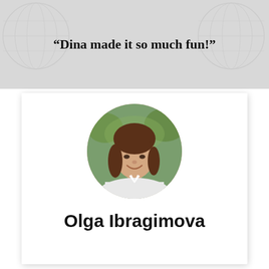“Dina made it so much fun!”
[Figure (photo): Oval portrait photo of a young woman with brown hair and bangs, smiling, wearing a white shirt, with green foliage in the background.]
Olga Ibragimova